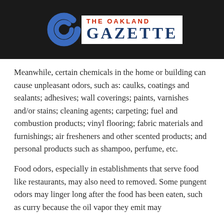[Figure (logo): The Oakland Gazette newspaper logo with blue swirl graphic on dark background]
Meanwhile, certain chemicals in the home or building can cause unpleasant odors, such as: caulks, coatings and sealants; adhesives; wall coverings; paints, varnishes and/or stains; cleaning agents; carpeting; fuel and combustion products; vinyl flooring; fabric materials and furnishings; air fresheners and other scented products; and personal products such as shampoo, perfume, etc.
Food odors, especially in establishments that serve food like restaurants, may also need to removed. Some pungent odors may linger long after the food has been eaten, such as curry because the oil vapor they emit may